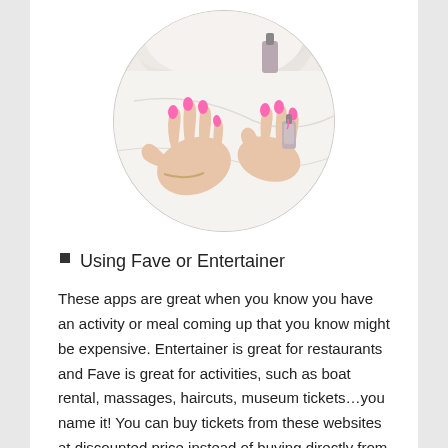[Figure (photo): Overhead photo of two hands with bright pink painted nails, one hand applying nail polish from a small bottle, on a white marble surface with a fluffy white background, displayed in a circular crop.]
Using Fave or Entertainer
These apps are great when you know you have an activity or meal coming up that you know might be expensive. Entertainer is great for restaurants and Fave is great for activities, such as boat rental, massages, haircuts, museum tickets…you name it! You can buy tickets from these websites at discounted price instead of buying directly from the attractions or restaurants themselves.